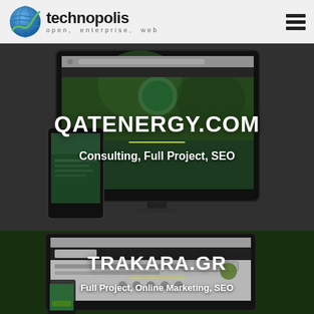technopolis open. enterprise. web
[Figure (screenshot): Website screenshot of QATENERGY.COM displayed on a monitor and mobile device mockup, with dark gray overlay background]
QATENERGY.COM
Consulting, Full Project, SEO
[Figure (screenshot): Website screenshot of TRAKARA.GR displayed on a laptop/monitor mockup, with dark green overlay background]
TRAKARA.GR
Full Project, Online Marketing, SEO